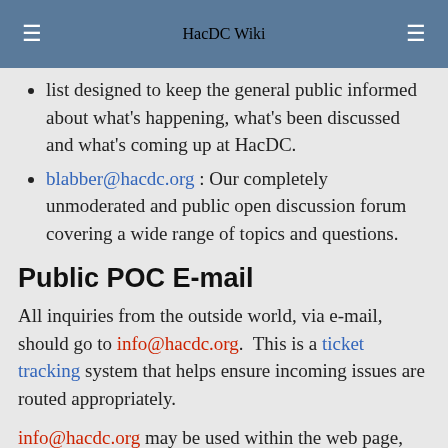HacDC Wiki
list designed to keep the general public informed about what's happening, what's been discussed and what's coming up at HacDC.
blabber@hacdc.org : Our completely unmoderated and public open discussion forum covering a wide range of topics and questions.
Public POC E-mail
All inquiries from the outside world, via e-mail, should go to info@hacdc.org.  This is a ticket tracking system that helps ensure incoming issues are routed appropriately.
info@hacdc.org may be used within the web page, wiki, on documents, flyers, etc. as a way for those outside HacDC to contact the organization.
Internal/Member E-mail Addresses/Aliases